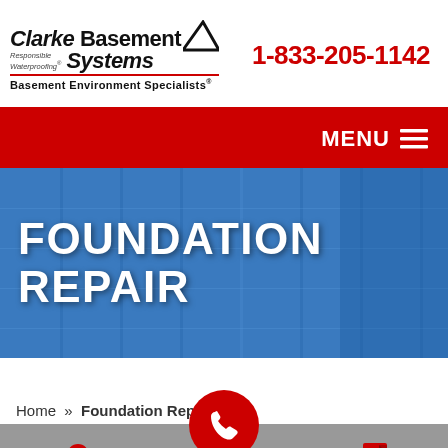[Figure (logo): Clarke Basement Systems logo with triangle/roof graphic and 'Basement Environment Specialists' tagline]
1-833-205-1142
MENU ≡
FOUNDATION REPAIR
Home » Foundation Repair
Service Area
Free Quote